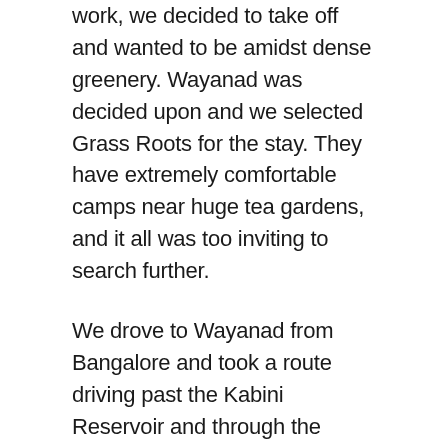work, we decided to take off and wanted to be amidst dense greenery. Wayanad was decided upon and we selected Grass Roots for the stay. They have extremely comfortable camps near huge tea gardens, and it all was too inviting to search further.
We drove to Wayanad from Bangalore and took a route driving past the Kabini Reservoir and through the Bandipur forest road. The drive itself is gorgeous, with enough stopovers for great food (the Kamat's Lokaruchi on Mysore Highway is great for breakfast). If you avoid a weekend, you can avoid the heavy traffic on this road. The journey next to the Kabini Reservoir and through the forest is beautiful with enough sightings possible in the forest road. We